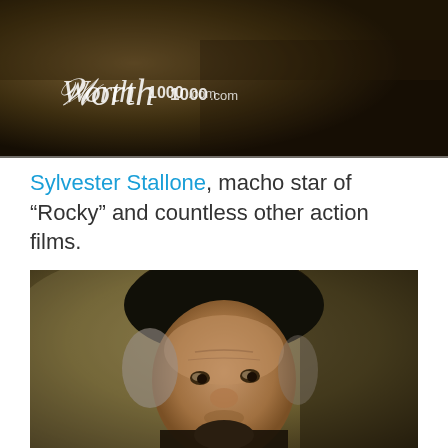[Figure (photo): Top portion of a classical-style portrait painting with dark brown background and a Worth1000.com logo watermark in white script in the upper-left corner.]
Sylvester Stallone, macho star of “Rocky” and countless other action films.
[Figure (photo): Classical portrait painting (resembling a Rembrandt self-portrait) showing an older man wearing a dark beret, with grey hair, wearing dark clothing, against a muted olive-brown background.]